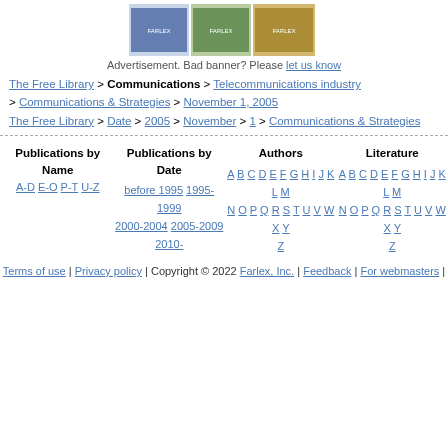[Figure (photo): Advertisement banner showing book/publication images]
Advertisement. Bad banner? Please let us know
The Free Library > Communications > Telecommunications industry > Communications & Strategies > November 1, 2005
The Free Library > Date > 2005 > November > 1 > Communications & Strategies
Publications by Name  A-D E-O P-T U-Z
Publications by Date  before 1995  1995-1999  2000-2004  2005-2009  2010-
Authors  A B C D E F G H I J K L M N O P Q R S T U V W X Y Z
Literature  A B C D E F G H I J K L M N O P Q R S T U V W X Y Z
Terms of use | Privacy policy | Copyright © 2022 Farlex, Inc. | Feedback | For webmasters |